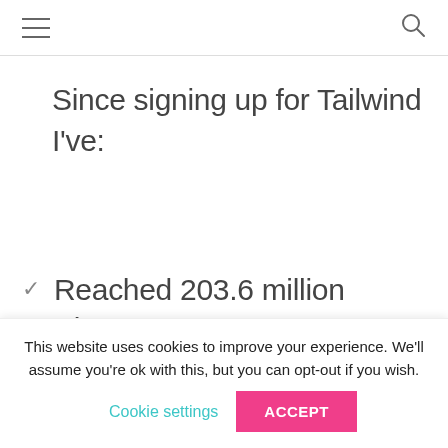≡  🔍
Since signing up for Tailwind I've:
✓ Reached 203.6 million Pinterest users
This website uses cookies to improve your experience. We'll assume you're ok with this, but you can opt-out if you wish. Cookie settings ACCEPT